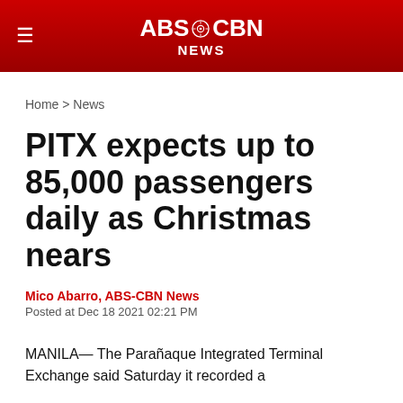ABS-CBN NEWS
Home > News
PITX expects up to 85,000 passengers daily as Christmas nears
Mico Abarro, ABS-CBN News
Posted at Dec 18 2021 02:21 PM
MANILA— The Parañaque Integrated Terminal Exchange said Saturday it recorded a...